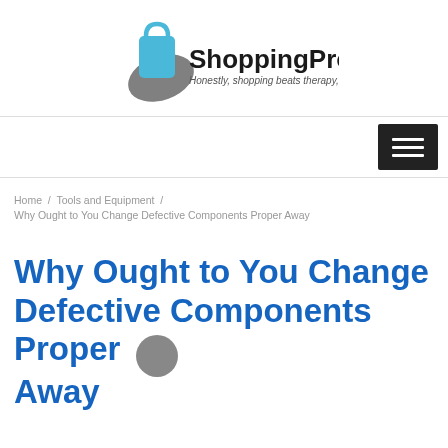[Figure (logo): ShoppingProduct logo with a blue shopping bag icon and grey swoosh. Text reads 'ShoppingProduct' in bold black, subtitle 'Honestly, shopping beats therapy, anytime' in smaller text.]
[Figure (other): Dark hamburger menu button with three white horizontal lines]
Home / Tools and Equipment / Why Ought to You Change Defective Components Proper Away
Why Ought to You Change Defective Components Proper Away